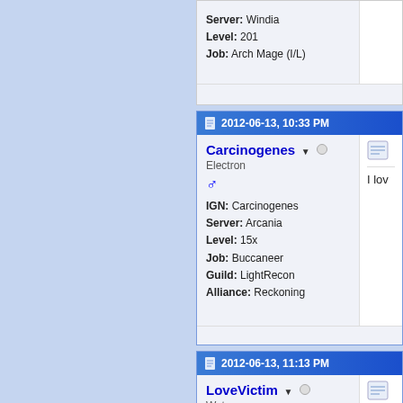Server: Windia
Level: 201
Job: Arch Mage (I/L)
2012-06-13, 10:33 PM
Carcinogenes
Electron
IGN: Carcinogenes
Server: Arcania
Level: 15x
Job: Buccaneer
Guild: LightRecon
Alliance: Reckoning
I lov
2012-06-13, 11:13 PM
LoveVictim
Water
Fun
whe